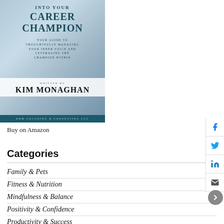[Figure (illustration): Book cover for 'Into Your Career Champion' by Kim Monaghan, published by KBM Coaching & Consulting LLC. Cover has a blue-grey architectural background. Subtitle: Your guide to thoughtfully managing your inner voice and leveraging the champion within.]
Buy on Amazon
Categories
Family & Pets
Fitness & Nutrition
Mindfulness & Balance
Positivity & Confidence
Productivity & Success